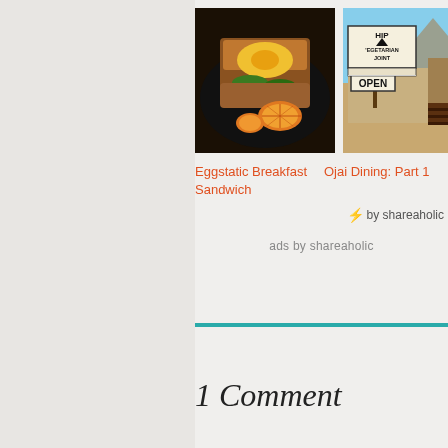[Figure (photo): Photo of a breakfast sandwich with egg and orange slices on a dark plate]
[Figure (photo): Photo of a hip vegetarian joint restaurant sign with OPEN sign, desert building in background]
Eggstatic Breakfast Sandwich
Ojai Dining: Part 1
⚡ by shareaholic
ads by shareaholic
1 Comment
G.R. HORTON April 1, 2013 at